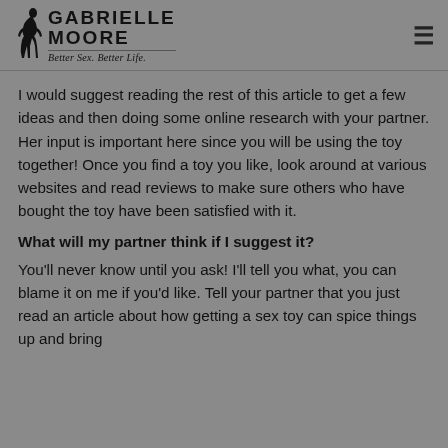GABRIELLE MOORE — Better Sex. Better Life.
I would suggest reading the rest of this article to get a few ideas and then doing some online research with your partner. Her input is important here since you will be using the toy together! Once you find a toy you like, look around at various websites and read reviews to make sure others who have bought the toy have been satisfied with it.
What will my partner think if I suggest it?
You'll never know until you ask! I'll tell you what, you can blame it on me if you'd like. Tell your partner that you just read an article about how getting a sex toy can spice things up and bring